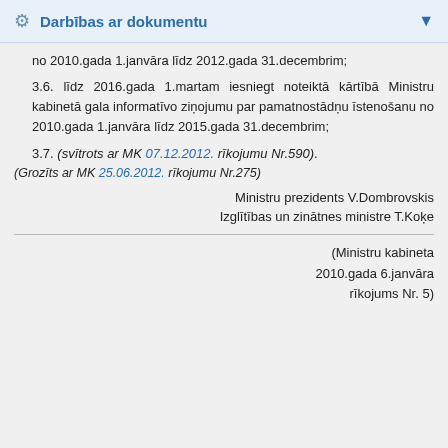Darbības ar dokumentu
no 2010.gada 1.janvāra līdz 2012.gada 31.decembrim;
3.6. līdz 2016.gada 1.martam iesniegt noteiktā kārtībā Ministru kabinetā gala informatīvo ziņojumu par pamatnostādņu īstenošanu no 2010.gada 1.janvāra līdz 2015.gada 31.decembrim;
3.7. (svītrots ar MK 07.12.2012. rīkojumu Nr.590).
(Grozīts ar MK 25.06.2012. rīkojumu Nr.275)
Ministru prezidents V.Dombrovskis
Izglītības un zinātnes ministre T.Koķe
(Ministru kabineta 2010.gada 6.janvāra rīkojums Nr. 5)